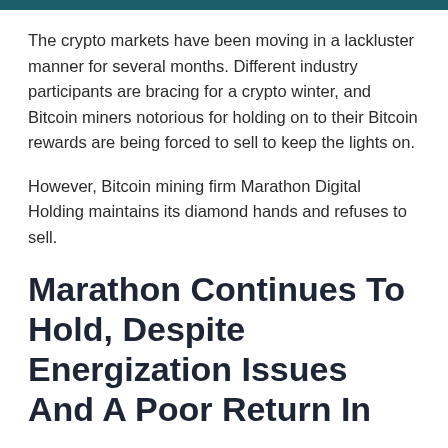The crypto markets have been moving in a lackluster manner for several months. Different industry participants are bracing for a crypto winter, and Bitcoin miners notorious for holding on to their Bitcoin rewards are being forced to sell to keep the lights on.
However, Bitcoin mining firm Marathon Digital Holding maintains its diamond hands and refuses to sell.
Marathon Continues To Hold, Despite Energization Issues And A Poor Return In